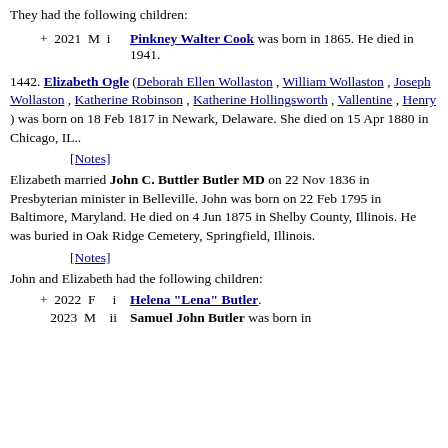They had the following children:
+ 2021 M i Pinkney Walter Cook was born in 1865. He died in 1941.
1442. Elizabeth Ogle (Deborah Ellen Wollaston , William Wollaston , Joseph Wollaston , Katherine Robinson , Katherine Hollingsworth , Vallentine , Henry ) was born on 18 Feb 1817 in Newark, Delaware. She died on 15 Apr 1880 in Chicago, IL..
[Notes]
Elizabeth married John C. Buttler Butler MD on 22 Nov 1836 in Presbyterian minister in Belleville. John was born on 22 Feb 1795 in Baltimore, Maryland. He died on 4 Jun 1875 in Shelby County, Illinois. He was buried in Oak Ridge Cemetery, Springfield, Illinois.
[Notes]
John and Elizabeth had the following children:
+ 2022 F i Helena "Lena" Butler.
2023 M ii Samuel John Butler was born in